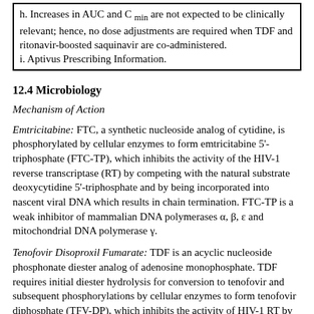h. Increases in AUC and C min are not expected to be clinically relevant; hence, no dose adjustments are required when TDF and ritonavir-boosted saquinavir are co-administered.
i. Aptivus Prescribing Information.
12.4 Microbiology
Mechanism of Action
Emtricitabine: FTC, a synthetic nucleoside analog of cytidine, is phosphorylated by cellular enzymes to form emtricitabine 5'-triphosphate (FTC-TP), which inhibits the activity of the HIV-1 reverse transcriptase (RT) by competing with the natural substrate deoxycytidine 5'-triphosphate and by being incorporated into nascent viral DNA which results in chain termination. FTC-TP is a weak inhibitor of mammalian DNA polymerases α, β, ε and mitochondrial DNA polymerase γ.
Tenofovir Disoproxil Fumarate: TDF is an acyclic nucleoside phosphonate diester analog of adenosine monophosphate. TDF requires initial diester hydrolysis for conversion to tenofovir and subsequent phosphorylations by cellular enzymes to form tenofovir diphosphate (TFV-DP), which inhibits the activity of HIV-1 RT by competing with the natural substrate deoxyadenosine 5'-triphosphate and, after incorporation into DNA, by DNA chain termination. TFV-DP is a weak inhibitor of